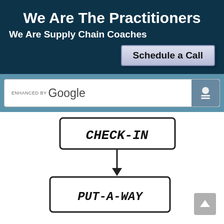We Are The Practitioners
We Are Supply Chain Coaches
Schedule a Call
[Figure (screenshot): Google search bar with 'ENHANCED BY Google' label and a teal/blue icon button on the right showing a person/ID badge icon]
[Figure (flowchart): Hand-drawn flowchart showing two process boxes connected by a downward arrow. Top box reads 'CHECK-IN', bottom box reads 'PUT-A-WAY']